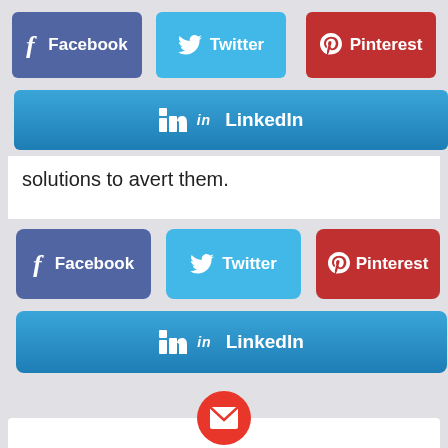[Figure (screenshot): Social share buttons row: Facebook (blue-purple), Twitter (light blue), Pinterest (red)]
[Figure (screenshot): LinkedIn social share button (blue gradient), full width]
solutions to avert them.
[Figure (screenshot): Second set of social share buttons: Facebook, Twitter, Pinterest]
[Figure (screenshot): Second LinkedIn share button]
[Figure (screenshot): Email subscription box with red circle envelope icon, heading 'Want more stuff like this?' and subtext 'Get the best viral stories straight into your inbox!']